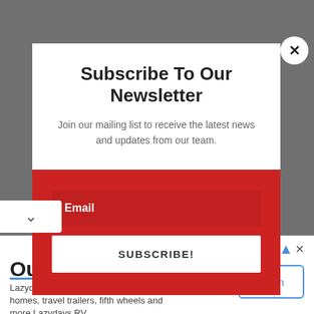Subscribe To Our Newsletter
Join our mailing list to receive the latest news and updates from our team.
Email
SUBSCRIBE!
Our Prices Won't Be Beat
Lazydays features thousands of motor homes, travel trailers, fifth wheels and more Lazydays RV
Open